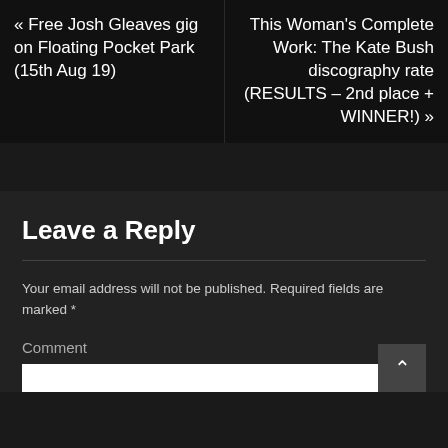« Free Josh Gleaves gig on Floating Pocket Park (15th Aug 19)
This Woman's Complete Work: The Kate Bush discography rate (RESULTS – 2nd place + WINNER!) »
Leave a Reply
Your email address will not be published. Required fields are marked *
Comment